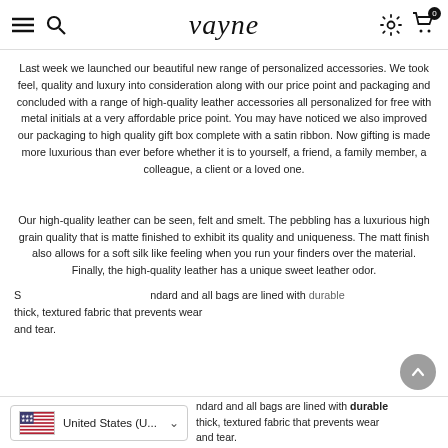vayne
Last week we launched our beautiful new range of personalized accessories. We took feel, quality and luxury into consideration along with our price point and packaging and concluded with a range of high-quality leather accessories all personalized for free with metal initials at a very affordable price point. You may have noticed we also improved our packaging to high quality gift box complete with a satin ribbon. Now gifting is made more luxurious than ever before whether it is to yourself, a friend, a family member, a colleague, a client or a loved one.
Our high-quality leather can be seen, felt and smelt. The pebbling has a luxurious high grain quality that is matte finished to exhibit its quality and uniqueness. The matt finish also allows for a soft silk like feeling when you run your finders over the material. Finally, the high-quality leather has a unique sweet leather odor.
S... ndard and all bags are lined with durable thick, textured fabric that prevents wear and tear.